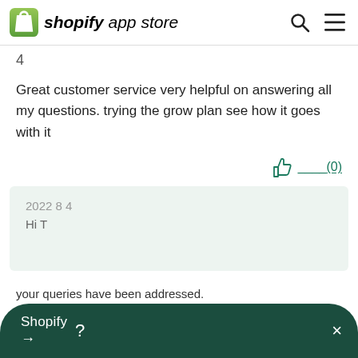shopify app store
4
Great customer service very helpful on answering all my questions. trying the grow plan see how it goes with it
(0)
2022 8 4
Hi T
Shopify ? →
your queries have been addressed.